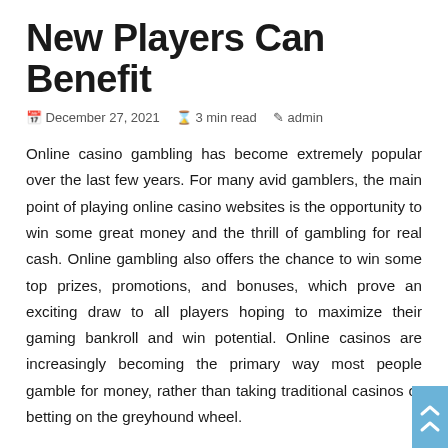New Players Can Benefit
📅 December 27, 2021  🕐 3 min read  👤 admin
Online casino gambling has become extremely popular over the last few years. For many avid gamblers, the main point of playing online casino websites is the opportunity to win some great money and the thrill of gambling for real cash. Online gambling also offers the chance to win some top prizes, promotions, and bonuses, which prove an exciting draw to all players hoping to maximize their gaming bankroll and win potential. Online casinos are increasingly becoming the primary way most people gamble for money, rather than taking traditional casinos or betting on the greyhound wheel.
Online gambling can be a hugely fun and addictive way of making money, but it does have its risks. People need to